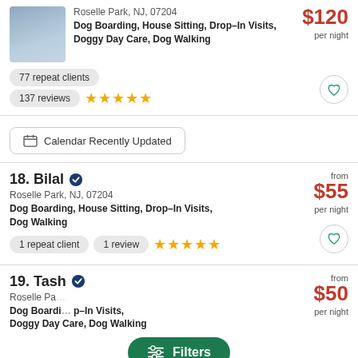[Figure (photo): Profile photo of a smiling young man with short brown hair]
Roselle Park, NJ, 07204
Dog Boarding, House Sitting, Drop-In Visits, Doggy Day Care, Dog Walking
$120 per night
77 repeat clients
137 reviews ★★★★★
Calendar Recently Updated
18. Bilal ✓ verified
Roselle Park, NJ, 07204
Dog Boarding, House Sitting, Drop-In Visits, Dog Walking
from $55 per night
1 repeat client
1 review ★★★★★
19. Tash...
Roselle Pa...
Dog Boardi... p-In Visits, Doggy Day Care, Dog Walking
from $50 per night
Filters